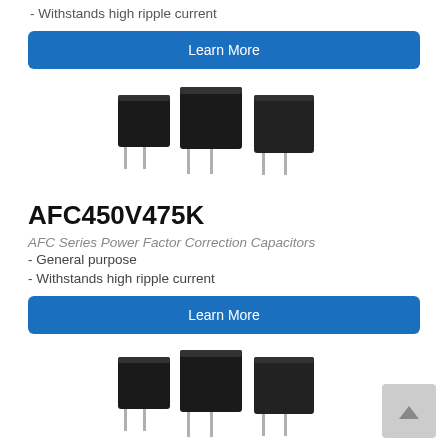- Withstands high ripple current
Learn More
[Figure (photo): Three black box film capacitors with metal leads, arranged in a row, shown from slight angle perspective]
AFC450V475K
AFC Series Power Factor Correction Capacitors
- General purpose
- Withstands high ripple current
Learn More
[Figure (photo): Three black box film capacitors with metal leads, arranged in a row, shown from slight angle perspective]